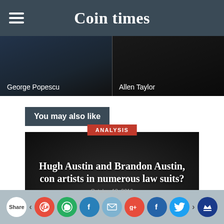Coin times
[Figure (photo): Two author photos side by side: George Popescu (left) and Allen Taylor (right)]
You may also like
[Figure (photo): Dark article card with red ANALYSIS badge and title: Hugh Austin and Brandon Austin, con artists in numerous law suits?]
Share bar with social media buttons: Pinterest, WhatsApp, Facebook, Email, Google+, Facebook, Twitter, Crown